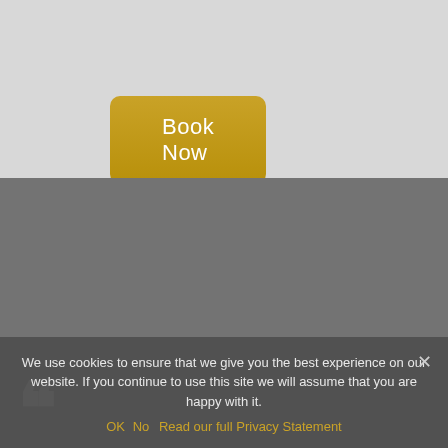[Figure (screenshot): Golden 'Book Now' button on a light gray background section]
““
Fun times
I had a great experience with Simon for my artist photoshoot. The consultation was helpful and the shoot was a lot of fun, trying different angles and lighting etc. I was very pleased how the final photos came out – I would definitely recommend
We use cookies to ensure that we give you the best experience on our website. If you continue to use this site we will assume that you are happy with it.
OK  No  Read our full Privacy Statement